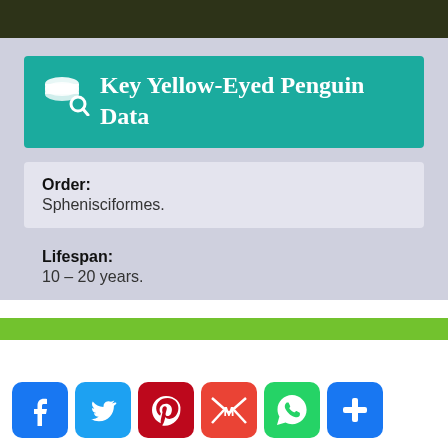Key Yellow-Eyed Penguin Data
Order: Sphenisciformes.
Lifespan: 10 – 20 years.
[Figure (infographic): Social media share icons: Facebook, Twitter, Pinterest, Gmail, WhatsApp, Plus]